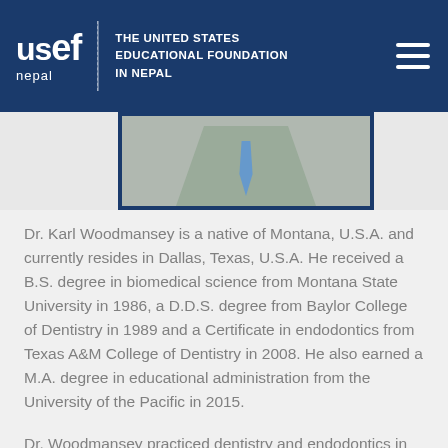USEF Nepal — THE UNITED STATES EDUCATIONAL FOUNDATION IN NEPAL
[Figure (photo): Partial photo of Dr. Karl Woodmansey in a suit and blue tie, cropped at torso level with a dark blue border frame]
Dr. Karl Woodmansey is a native of Montana, U.S.A. and currently resides in Dallas, Texas, U.S.A. He received a B.S. degree in biomedical science from Montana State University in 1986, a D.D.S. degree from Baylor College of Dentistry in 1989 and a Certificate in endodontics from Texas A&M College of Dentistry in 2008. He also earned a M.A. degree in educational administration from the University of the Pacific in 2015.
Dr. Woodmansey practiced dentistry and endodontics in Bozeman, Montana, for 22 years before entering academia. He held faculty